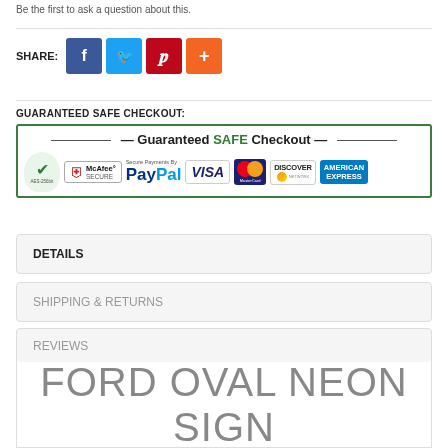Be the first to ask a question about this.
[Figure (infographic): Share buttons: Facebook (blue), Twitter (light blue), Pinterest (red), plus button (orange)]
GUARANTEED SAFE CHECKOUT:
[Figure (infographic): Guaranteed SAFE Checkout badge with logos: green shield/AES-256bit, McAfee SECURE, PayPal, Visa, MasterCard, Discover, American Express]
DETAILS
SHIPPING & RETURNS
REVIEWS
FORD OVAL NEON SIGN